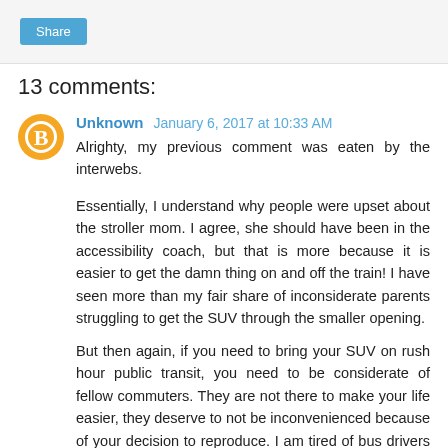Share
13 comments:
Unknown  January 6, 2017 at 10:33 AM
Alrighty, my previous comment was eaten by the interwebs.

Essentially, I understand why people were upset about the stroller mom. I agree, she should have been in the accessibility coach, but that is more because it is easier to get the damn thing on and off the train! I have seen more than my fair share of inconsiderate parents struggling to get the SUV through the smaller opening.

But then again, if you need to bring your SUV on rush hour public transit, you need to be considerate of fellow commuters. They are not there to make your life easier, they deserve to not be inconvenienced because of your decision to reproduce. I am tired of bus drivers evicting